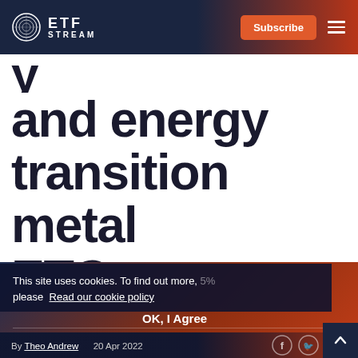ETF STREAM
and energy transition metal ETCs
This site uses cookies. To find out more, please Read our cookie policy
OK, I Agree
By Theo Andrew
20 Apr 2022